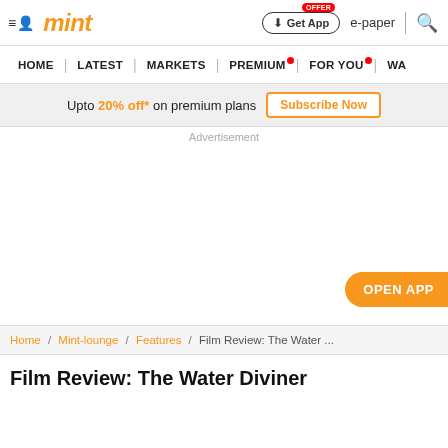mint | Get App | e-paper | search
HOME | LATEST | MARKETS | PREMIUM | FOR YOU | WA...
Upto 20% off* on premium plans  Subscribe Now
Advertisement
OPEN APP
Home / Mint-lounge / Features / Film Review: The Water ...
Film Review: The Water Diviner